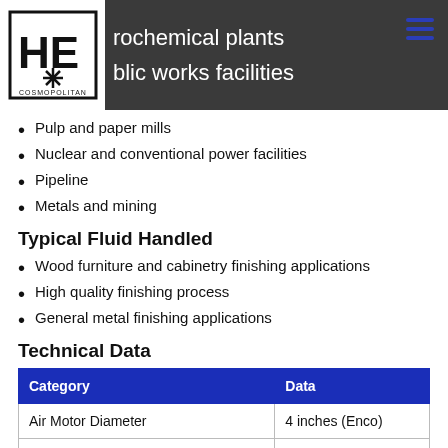petrochemical plants
public works facilities
Pulp and paper mills
Nuclear and conventional power facilities
Pipeline
Metals and mining
Typical Fluid Handled
Wood furniture and cabinetry finishing applications
High quality finishing process
General metal finishing applications
Technical Data
| Category | Data |
| --- | --- |
| Air Motor Diameter | 4 inches (Enco) |
| Pressure Ratio (Fluid to Air) | 23:1 |
| Maximum Fluid Working Pressure | 184 bar (2700 PSI) |